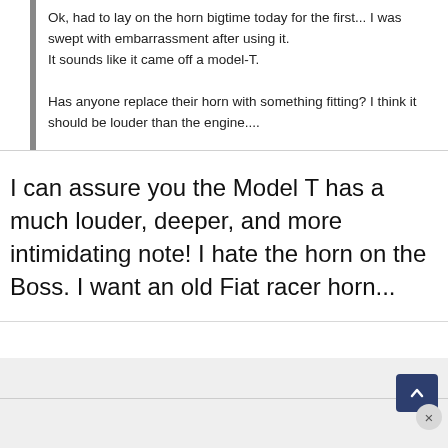Ok, had to lay on the horn bigtime today for the first... I was swept with embarrassment after using it.
It sounds like it came off a model-T.

Has anyone replace their horn with something fitting? I think it should be louder than the engine....
I can assure you the Model T has a much louder, deeper, and more intimidating note! I hate the horn on the Boss. I want an old Fiat racer horn...